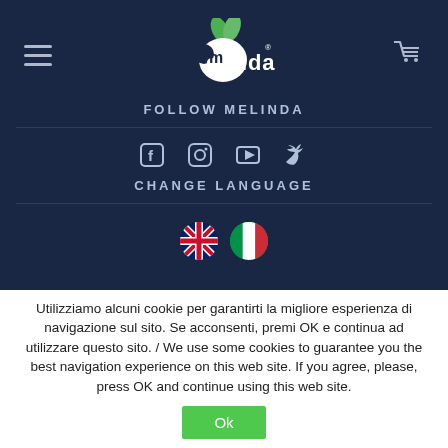[Figure (logo): Melinda apple brand logo with green leaves on dark navy background]
FOLLOW MELINDA
[Figure (infographic): Social media icons: Facebook, Instagram, YouTube, Twitter]
CHANGE LANGUAGE
[Figure (infographic): Language flags: UK flag (English) and Italian flag]
Utilizziamo alcuni cookie per garantirti la migliore esperienza di navigazione sul sito. Se acconsenti, premi OK e continua ad utilizzare questo sito. / We use some cookies to guarantee you the best navigation experience on this web site. If you agree, please, press OK and continue using this web site.